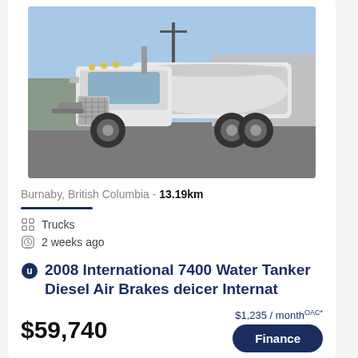[Figure (photo): White 2008 International 7400 Water Tanker truck parked in a lot, side/front view showing large chrome grille, tank body, and dual rear wheels.]
Burnaby, British Columbia - 13.19km
Trucks
2 weeks ago
2008 International 7400 Water Tanker Diesel Air Brakes deicer Internat
$1,235 / month OAC*
$59,740
Finance